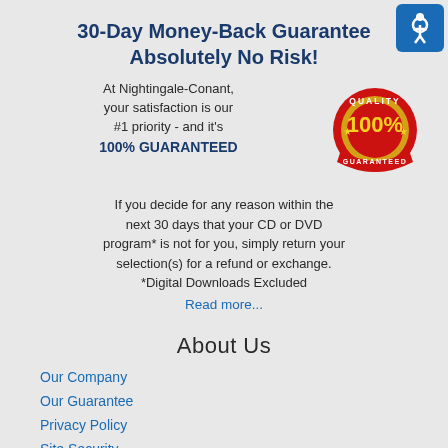30-Day Money-Back Guarantee Absolutely No Risk!
At Nightingale-Conant, your satisfaction is our #1 priority - and it's 100% GUARANTEED
[Figure (illustration): Red and gold circular quality guarantee badge showing '100% GUARANTEED']
If you decide for any reason within the next 30 days that your CD or DVD program* is not for you, simply return your selection(s) for a refund or exchange. *Digital Downloads Excluded
Read more...
About Us
Our Company
Our Guarantee
Privacy Policy
Site Security
Contact Us